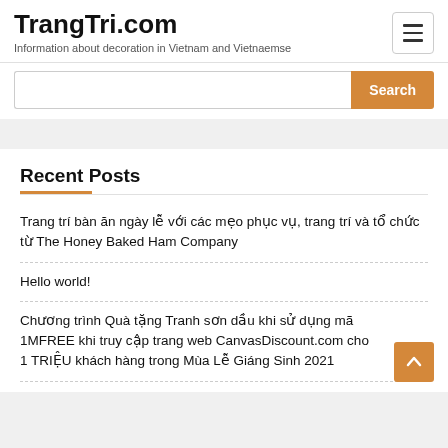TrangTri.com
Information about decoration in Vietnam and Vietnaemse
Search
Recent Posts
Trang trí bàn ăn ngày lễ với các mẹo phục vụ, trang trí và tổ chức từ The Honey Baked Ham Company
Hello world!
Chương trình Quà tặng Tranh sơn dầu khi sử dụng mã 1MFREE khi truy cập trang web CanvasDiscount.com cho 1 TRIỆU khách hàng trong Mùa Lễ Giáng Sinh 2021